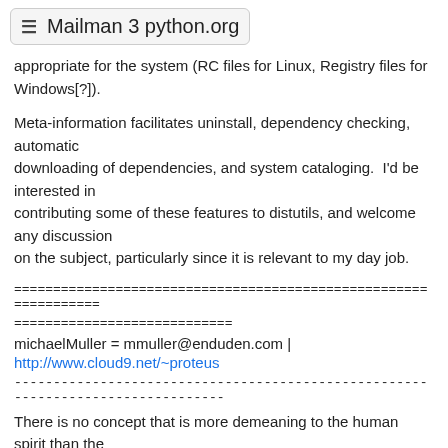≡ Mailman 3 python.org
appropriate for the system (RC files for Linux, Registry files for Windows[?]).
Meta-information facilitates uninstall, dependency checking, automatic downloading of dependencies, and system cataloging.  I'd be interested in contributing some of these features to distutils, and welcome any discussion on the subject, particularly since it is relevant to my day job.
================================================================
============================
michaelMuller = mmuller@enduden.com |
http://www.cloud9.net/~proteus
There is no concept that is more demeaning to the human spirit than the notion that our freedom must be limited in the interests of our own protection.